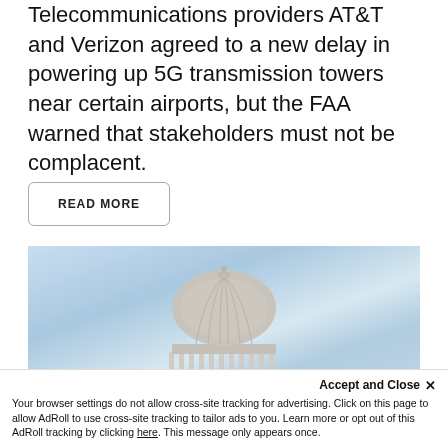Telecommunications providers AT&T and Verizon agreed to a new delay in powering up 5G transmission towers near certain airports, but the FAA warned that stakeholders must not be complacent.
READ MORE
[Figure (photo): Photograph of the US Capitol building dome against a dramatic blue and white cloudy sky]
Accept and Close ✕
Your browser settings do not allow cross-site tracking for advertising. Click on this page to allow AdRoll to use cross-site tracking to tailor ads to you. Learn more or opt out of this AdRoll tracking by clicking here. This message only appears once.